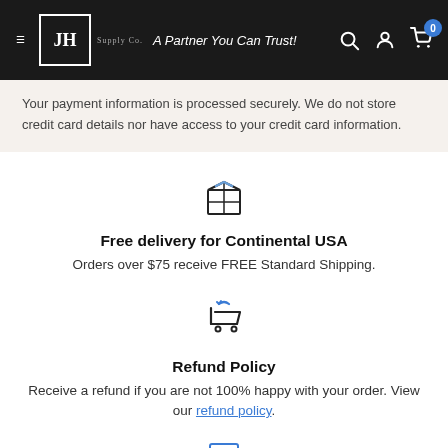JH Supply Co — A Partner You Can Trust!
Your payment information is processed securely. We do not store credit card details nor have access to your credit card information.
[Figure (illustration): Package/box icon]
Free delivery for Continental USA
Orders over $75 receive FREE Standard Shipping.
[Figure (illustration): Return/refund shopping cart icon]
Refund Policy
Receive a refund if you are not 100% happy with your order. View our refund policy.
[Figure (illustration): Another icon partially visible at bottom]